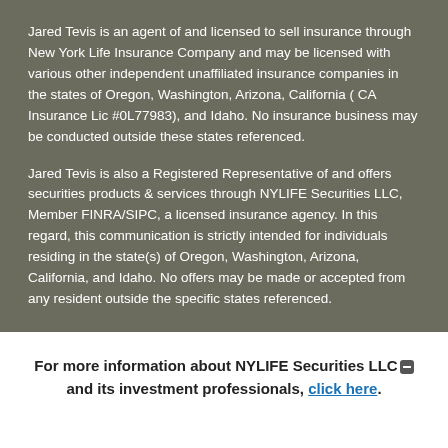Jared Tevis is an agent of and licensed to sell insurance through New York Life Insurance Company and may be licensed with various other independent unaffiliated insurance companies in the states of Oregon, Washington, Arizona, California ( CA Insurance Lic #0L77983), and Idaho. No insurance business may be conducted outside these states referenced.
Jared Tevis is also a Registered Representative of and offers securities products & services through NYLIFE Securities LLC, Member FINRA/SIPC, a licensed insurance agency. In this regard, this communication is strictly intended for individuals residing in the state(s) of Oregon, Washington, Arizona, California, and Idaho. No offers may be made or accepted from any resident outside the specific states referenced.
For more information about NYLIFE Securities LLC and its investment professionals, click here.